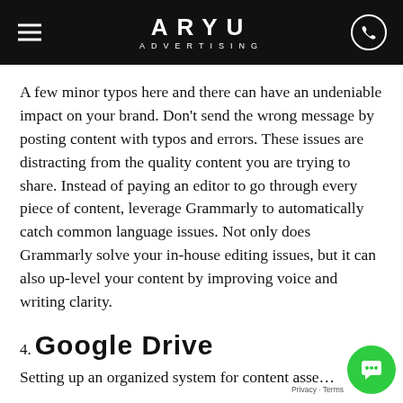ARYU ADVERTISING
A few minor typos here and there can have an undeniable impact on your brand. Don't send the wrong message by posting content with typos and errors. These issues are distracting from the quality content you are trying to share. Instead of paying an editor to go through every piece of content, leverage Grammarly to automatically catch common language issues. Not only does Grammarly solve your in-house editing issues, but it can also up-level your content by improving voice and writing clarity.
4. Google Drive
Setting up an organized system for content asse…